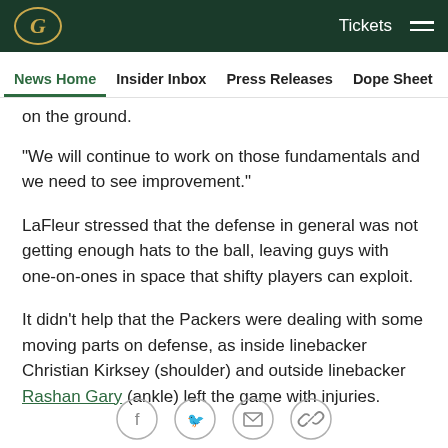Green Bay Packers logo | Tickets | Menu
News Home | Insider Inbox | Press Releases | Dope Sheet | Game...
on the ground.
"We will continue to work on those fundamentals and we need to see improvement."
LaFleur stressed that the defense in general was not getting enough hats to the ball, leaving guys with one-on-ones in space that shifty players can exploit.
It didn't help that the Packers were dealing with some moving parts on defense, as inside linebacker Christian Kirksey (shoulder) and outside linebacker Rashan Gary (ankle) left the game with injuries.